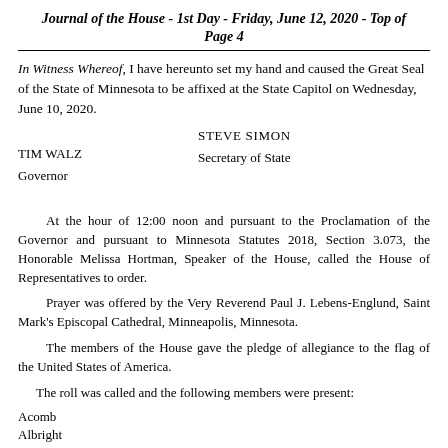Journal of the House - 1st Day - Friday, June 12, 2020 - Top of Page 4
In Witness Whereof, I have hereunto set my hand and caused the Great Seal of the State of Minnesota to be affixed at the State Capitol on Wednesday, June 10, 2020.
STEVE SIMON
Secretary of State
TIM WALZ
Governor
At the hour of 12:00 noon and pursuant to the Proclamation of the Governor and pursuant to Minnesota Statutes 2018, Section 3.073, the Honorable Melissa Hortman, Speaker of the House, called the House of Representatives to order.
Prayer was offered by the Very Reverend Paul J. Lebens-Englund, Saint Mark's Episcopal Cathedral, Minneapolis, Minnesota.
The members of the House gave the pledge of allegiance to the flag of the United States of America.
The roll was called and the following members were present:
Acomb
Albright